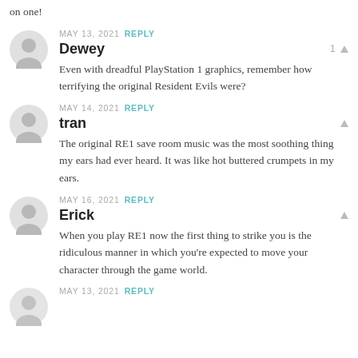on one!
MAY 13, 2021  REPLY
Dewey
1 ▲
Even with dreadful PlayStation 1 graphics, remember how terrifying the original Resident Evils were?
MAY 14, 2021  REPLY
tran
The original RE1 save room music was the most soothing thing my ears had ever heard. It was like hot buttered crumpets in my ears.
MAY 16, 2021  REPLY
Erick
When you play RE1 now the first thing to strike you is the ridiculous manner in which you're expected to move your character through the game world.
MAY 13, 2021  REPLY